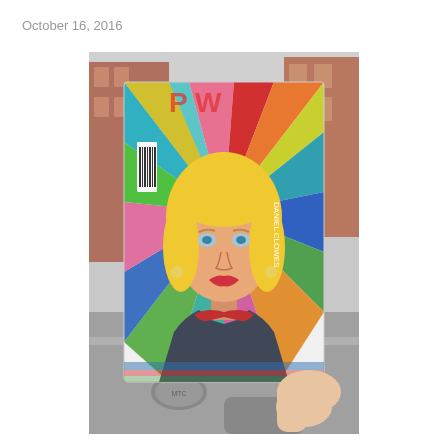October 16, 2016
[Figure (photo): A hand holds up a colorful illustrated book cover in front of an urban street backdrop. The book cover features a stylized cartoon illustration of a blonde woman with blue eyes, red lips, and gold earrings, wearing a dark turtleneck and red top. The background of the cover has radiating sunburst stripes in teal, pink, red, green, orange, and blue. There is a barcode sticker on the left side of the cover. The street scene behind shows brick buildings, parked cars, and a manhole cover inscribed with 'MTC'.]